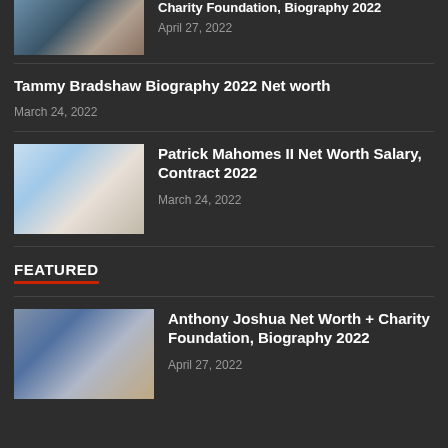[Figure (photo): Partially visible thumbnail of a man in a suit in front of American flags]
Charity Foundation, Biography 2022
April 27, 2022
Tammy Bradshaw Biography 2022 Net worth
March 24, 2022
[Figure (photo): Patrick Mahomes throwing a football, wearing a white outfit]
Patrick Mahomes II Net Worth Salary, Contract 2022
March 24, 2022
FEATURED
[Figure (photo): Anthony Joshua in front of American flags taking a selfie]
Anthony Joshua Net Worth + Charity Foundation, Biography 2022
April 27, 2022